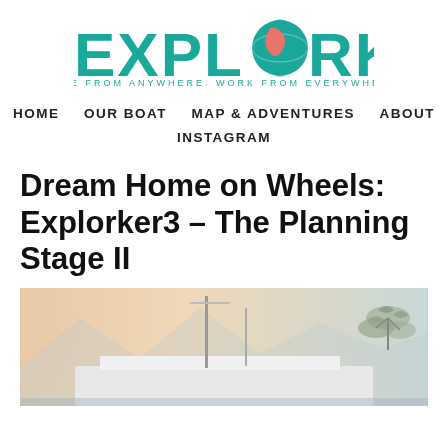[Figure (logo): EXPLORKING logo with teal text and a globe replacing the letter O, with tagline 'LIVE FROM ANYWHERE, WORK FROM EVERYWHERE']
HOME   OUR BOAT   MAP & ADVENTURES   ABOUT   INSTAGRAM
Dream Home on Wheels: Explorker3 – The Planning Stage II
[Figure (photo): Photo of a boat or RV with tall masts against a hazy sky with mountains in the background and foliage on the right side]